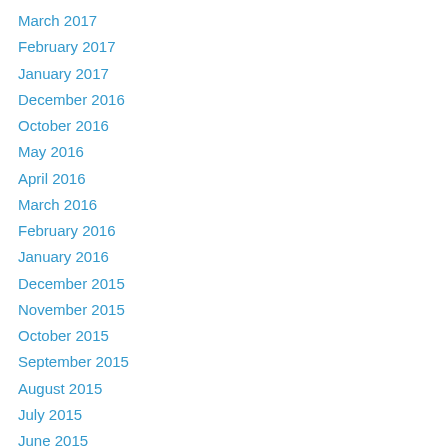March 2017
February 2017
January 2017
December 2016
October 2016
May 2016
April 2016
March 2016
February 2016
January 2016
December 2015
November 2015
October 2015
September 2015
August 2015
July 2015
June 2015
May 2015
April 2015
March 2015